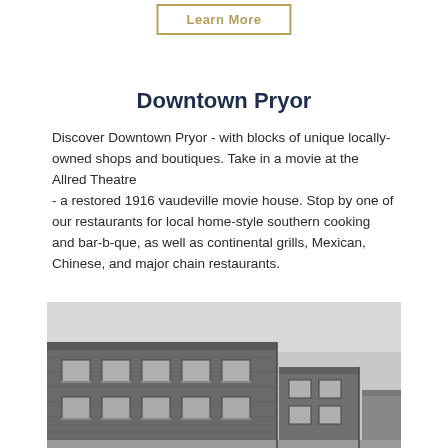Learn More
Downtown Pryor
Discover Downtown Pryor - with blocks of unique locally-owned shops and boutiques. Take in a movie at the Allred Theatre - a restored 1916 vaudeville movie house. Stop by one of our restaurants for local home-style southern cooking and bar-b-que, as well as continental grills, Mexican, Chinese, and major chain restaurants.
[Figure (photo): Black and white photo of historic downtown brick buildings in Pryor, Oklahoma, showing multi-story storefronts with windows.]